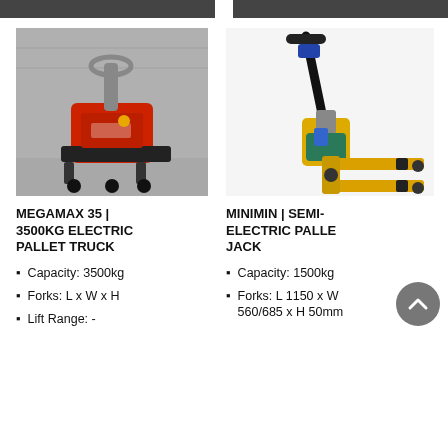[Figure (photo): Red and black electric pallet truck (MEGAMAX 35) in a warehouse setting, shown in greyscale background with red body.]
[Figure (photo): Yellow semi-electric pallet jack (MINIMIN) on a white background.]
MEGAMAX 35 | 3500KG ELECTRIC PALLET TRUCK
MINIMIN | SEMI-ELECTRIC PALLET JACK
Capacity: 3500kg
Forks: L x W x H
Lift Range: -
Capacity: 1500kg
Forks: L 1150 x W 560/685 x H 50mm